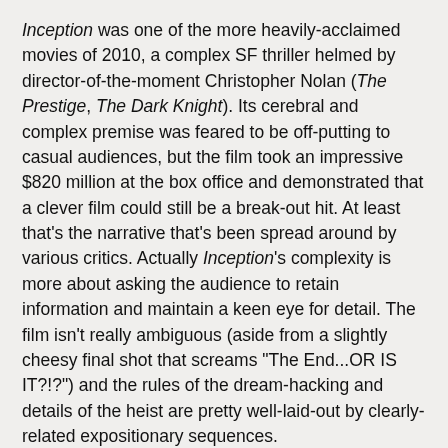Inception was one of the more heavily-acclaimed movies of 2010, a complex SF thriller helmed by director-of-the-moment Christopher Nolan (The Prestige, The Dark Knight). Its cerebral and complex premise was feared to be off-putting to casual audiences, but the film took an impressive $820 million at the box office and demonstrated that a clever film could still be a break-out hit. At least that's the narrative that's been spread around by various critics. Actually Inception's complexity is more about asking the audience to retain information and maintain a keen eye for detail. The film isn't really ambiguous (aside from a slightly cheesy final shot that screams "The End...OR IS IT?!?") and the rules of the dream-hacking and details of the heist are pretty well-laid-out by clearly-related expositionary sequences.
Like The Matrix, the film isn't as original as it first appears but melds its ideas with compelling action sequences (a fistfight in a hallway with the exterior gravity switching around is an impressive highlight) and use of CGI (Paris wrapping itself into a giant ball is a staggering visual idea, executed flawlessly). It lacks the confused cod-philosophy of The Matrix's weaker sequels though, instead focusing on the